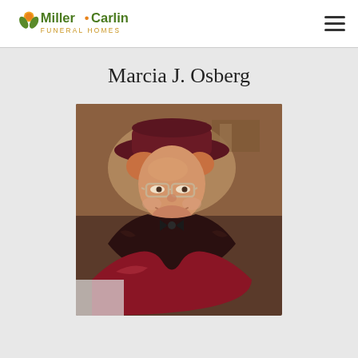Miller-Carlin Funeral Homes
Marcia J. Osberg
[Figure (photo): Portrait photo of Marcia J. Osberg, an elderly woman wearing a dark burgundy wide-brim hat, glasses with light-colored frames, a dark fur stole or collar, a black bow tie, and a reddish-satin garment. She is smiling warmly at the camera.]